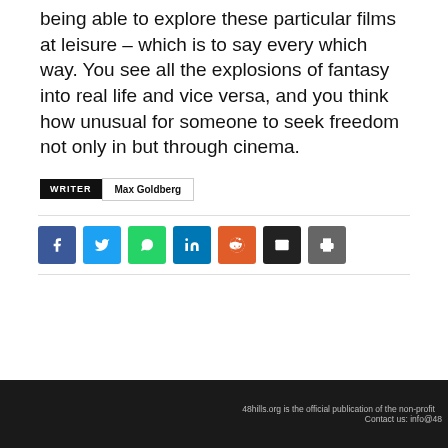being able to explore these particular films at leisure – which is to say every which way. You see all the explosions of fantasy into real life and vice versa, and you think how unusual for someone to seek freedom not only in but through cinema.
WRITER  Max Goldberg
[Figure (other): Social sharing buttons: Facebook, Twitter, WhatsApp, LinkedIn, Reddit, Email, Print]
48hills.org is the official publication of the non-profit   Contact us: info@48...